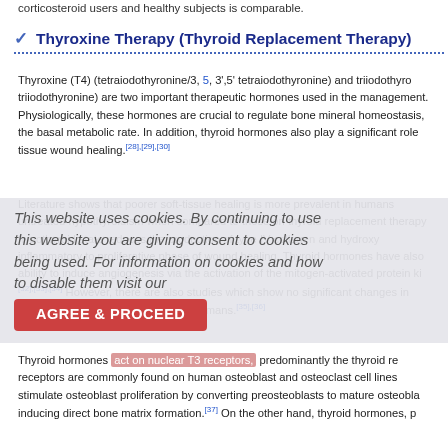corticosteroid users and healthy subjects is comparable.
✓  Thyroxine Therapy (Thyroid Replacement Therapy)
Thyroxine (T4) (tetraiodothyronine/3, 5, 3',5' tetraiodothyronine) and triiodothyronine) are two important therapeutic hormones used in the management. Physiologically, these hormones are crucial to regulate bone mineral homeostasis, the basal metabolic rate. In addition, thyroid hormones also play a significant role tissue wound healing.[28],[29],[30]
Literature shows that poorer soft-tissue healing is more prevalent in humans untreated hypothyroidism when compared to those on thyroid replacement therapy hypothyroid state reduces the production of type IV collagen and hydroxy inflammatory to proliferative phase of wound healing. Thyroid hormones have also ability to induce angiogenesis via the activation of the mitogen-activated protein ki[32],[33],[34] However, there are also studies which show no significant changes in strength for hypothyroid animals or humans.[35],[36]
This website uses cookies. By continuing to use this website you are giving consent to cookies being used. For information on cookies and how to disable them visit our AGREE & PROCEED
Thyroid hormones act on nuclear T3 receptors, predominantly the thyroid re receptors are commonly found on human osteoblast and osteoclast cell lines stimulate osteoblast proliferation by converting preosteoblasts to mature osteobla inducing direct bone matrix formation.[37] On the other hand, thyroid hormones, p